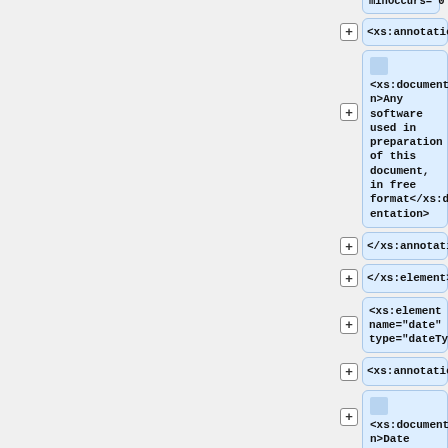[Figure (screenshot): XML schema diagram showing nested xs:annotation, xs:documentation, xs:element nodes with plus expand buttons. Visible nodes: minOccurs="0">, <xs:annotation>, <xs:documentation>Any software used in preparation of this document, in free format</xs:documentation>, </xs:annotation>, </xs:element>, <xs:element name="date" type="dateType">, <xs:annotation>, <xs:documentation>Date this]